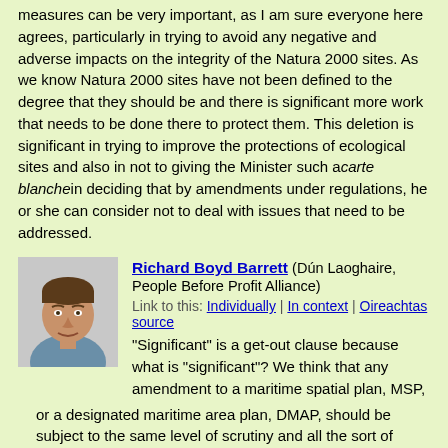measures can be very important, as I am sure everyone here agrees, particularly in trying to avoid any negative and adverse impacts on the integrity of the Natura 2000 sites. As we know Natura 2000 sites have not been defined to the degree that they should be and there is significant more work that needs to be done there to protect them. This deletion is significant in trying to improve the protections of ecological sites and also in not to giving the Minister such a carte blanche in deciding that by amendments under regulations, he or she can consider not to deal with issues that need to be addressed.
[Figure (photo): Portrait photo of Richard Boyd Barrett]
Richard Boyd Barrett (Dún Laoghaire, People Before Profit Alliance) Link to this: Individually | In context | Oireachtas source
"Significant" is a get-out clause because what is "significant"? We think that any amendment to a maritime spatial plan, MSP, or a designated maritime area plan, DMAP, should be subject to the same level of scrutiny and all the sort of requirements that the preparation of an MSP and DMAP would involve. These are the public consultations and the full compliance with all of the directives and all of the matters that we have discussed, whereas if one has a category of not-significant amendments, these could potentially allow amendments that some might think significant, but can be classed by a Minister as not being significant, and therefore get around the necessary protections and so on, that we are very keen should exist in protecting our marine environment.